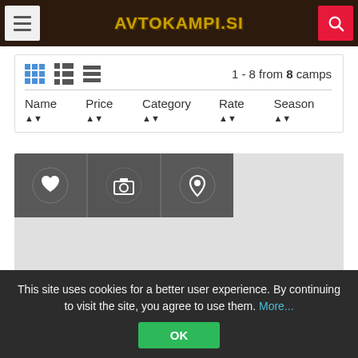AVTOKAMPI.SI
1 - 8 from 8 camps
Name ▲▼  Price ▲▼  Category ▲▼  Rate ▲▼  Season ▲▼
[Figure (screenshot): Camp listing card with heart, camera, and map pin icons on dark grey background]
This site uses cookies for a better user experience. By continuing to visit the site, you agree to use them. More...
OK